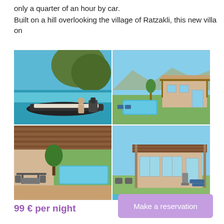only a quarter of an hour by car.
Built on a hill overlooking the village of Ratzakli, this new villa on
[Figure (photo): Four vacation property photos: top-left shows a motorboat on turquoise water near a rocky cliff; top-right shows villa exterior with pool and garden; bottom-left shows covered terrace with pool view; bottom-right shows villa exterior with pergola and outdoor seating.]
99 € per night
Make a reservation